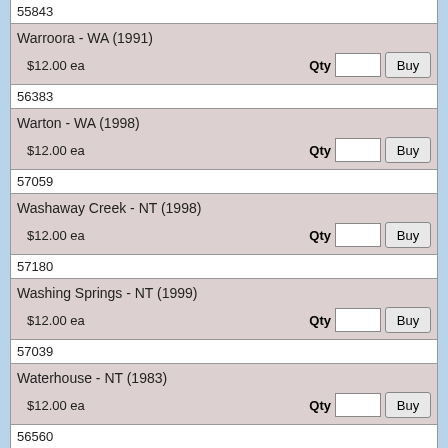55843
Warroora - WA (1991)
$12.00 ea
56383
Warton - WA (1998)
$12.00 ea
57059
Washaway Creek - NT (1998)
$12.00 ea
57180
Washing Springs - NT (1999)
$12.00 ea
57039
Waterhouse - NT (1983)
$12.00 ea
56560
Waterloo - NT (1992)
$12.00 ea